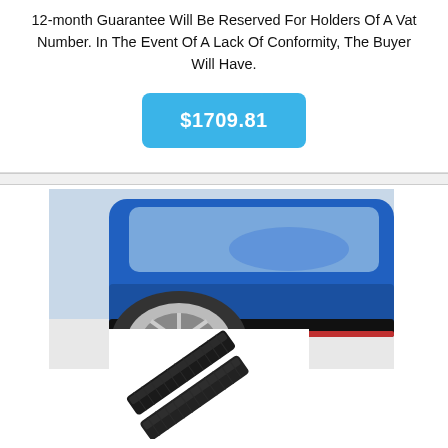12-month Guarantee Will Be Reserved For Holders Of A Vat Number. In The Event Of A Lack Of Conformity, The Buyer Will Have.
[Figure (other): A blue price button showing $1709.81]
[Figure (photo): Product listing image showing a blue car's side skirt/body kit area with a wheel visible, plus two black carbon fiber side skirt extensions displayed below the car photo.]